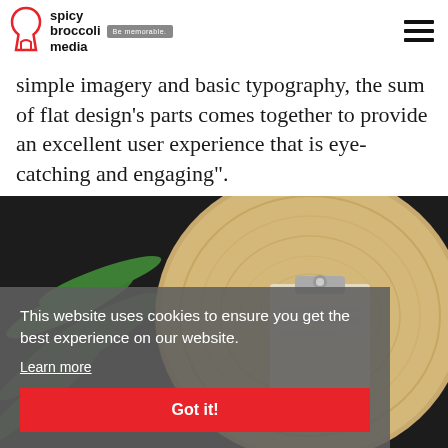spicy broccoli media — Be memorable.
simple imagery and basic typography, the sum of flat design's parts comes together to provide an excellent user experience that is eye-catching and engaging".
[Figure (photo): Overhead photo of a round wooden plate/tray with a clipboard on a dark background with green palm leaves. A grey semi-transparent cookie consent banner overlays the bottom portion of the image.]
This website uses cookies to ensure you get the best experience on our website.
Learn more
Got it!